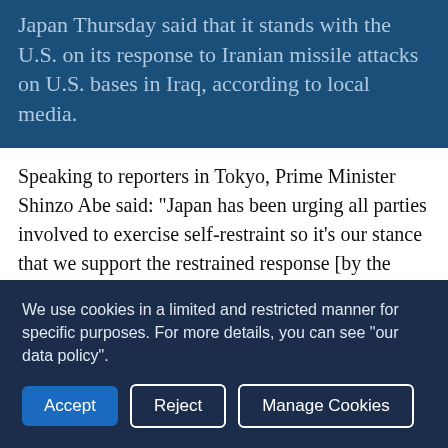Japan Thursday said that it stands with the U.S. on its response to Iranian missile attacks on U.S. bases in Iraq, according to local media.
Speaking to reporters in Tokyo, Prime Minister Shinzo Abe said: "Japan has been urging all parties involved to exercise self-restraint so it's our stance that we support the restrained response [by the U.S.]," Kyodo News reported.
Iran launched missile attacks on U.S. bases in Iraq during the intervening night of Tuesday and Wednesday. The attacks came in the wake of the U.S. killing of Qasem Soleimani, the head of Iran's Islamic Revolutionary Guard Corps' elite Quds
We use cookies in a limited and restricted manner for specific purposes. For more details, you can see "our data policy".